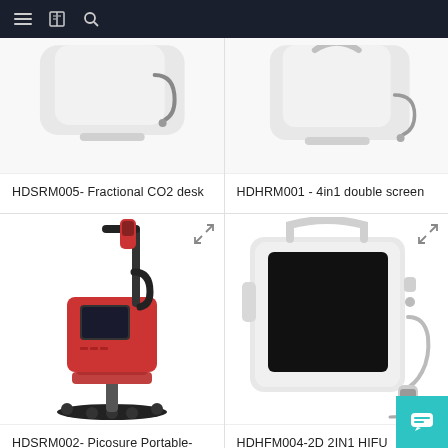Navigation bar with menu, book, and search icons
[Figure (photo): Partial view of HDSRM005 Fractional CO2 desk machine, white device cropped at top]
HDSRM005- Fractional CO2 desk
[Figure (photo): Partial view of HDHRM001 4in1 double screen machine, white device with handle cropped at top]
HDHRM001 - 4in1 double screen
[Figure (photo): HDSRM002 Picosure Portable-Red laser machine on a rolling stand, red and black color]
HDSRM002- Picosure Portable-Red
[Figure (photo): HDHFM004-2D 2IN1 HIFU F+VMAX-HS white portable device with large black screen and handheld applicator]
HDHFM004-2D 2IN1 HIFU F+VMAX-HS